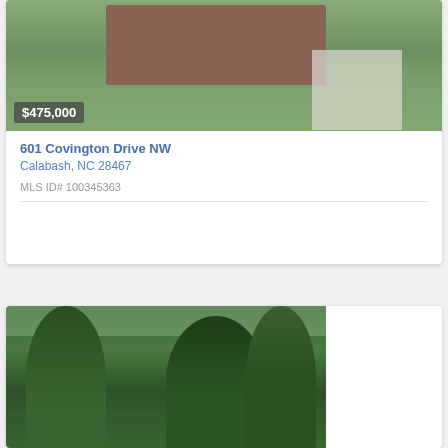[Figure (photo): Aerial view of a brick single-family home with green lawn, circular driveway, and landscaping. Price badge shows $475,000.]
601 Covington Drive NW
Calabash, NC 28467
MLS ID# 100345363
[Figure (photo): Aerial or ground-level photo showing tall trees with green foliage, a wooded lot view.]